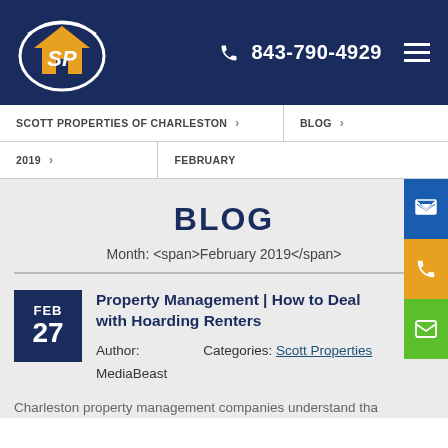843-790-4929
SCOTT PROPERTIES OF CHARLESTON › BLOG › 2019 › FEBRUARY
BLOG
Month: <span>February 2019</span>
FEB 27
Property Management | How to Deal with Hoarding Renters
Author: MediaBeast    Categories: Scott Properties
Charleston property management companies understand tha